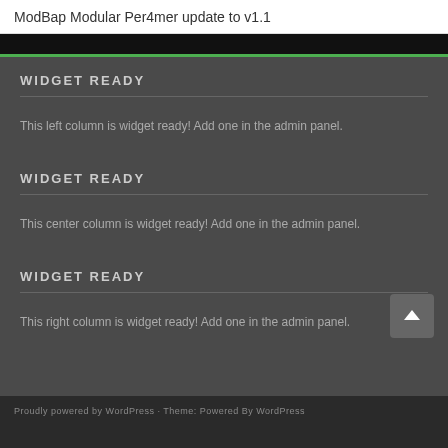ModBap Modular Per4mer update to v1.1
WIDGET READY
This left column is widget ready! Add one in the admin panel.
WIDGET READY
This center column is widget ready! Add one in the admin panel.
WIDGET READY
This right column is widget ready! Add one in the admin panel.
Proudly powered by WordPress · Theme: Powered By WordPress